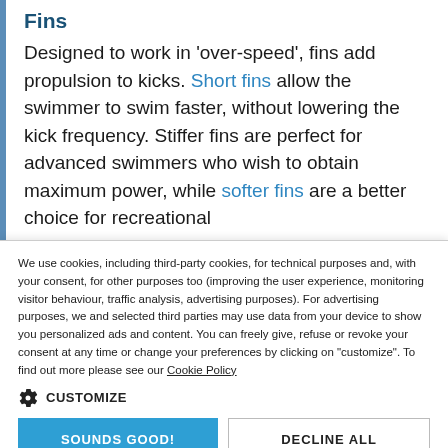Fins
Designed to work in 'over-speed', fins add propulsion to kicks. Short fins allow the swimmer to swim faster, without lowering the kick frequency. Stiffer fins are perfect for advanced swimmers who wish to obtain maximum power, while softer fins are a better choice for recreational
We use cookies, including third-party cookies, for technical purposes and, with your consent, for other purposes too (improving the user experience, monitoring visitor behaviour, traffic analysis, advertising purposes). For advertising purposes, we and selected third parties may use data from your device to show you personalized ads and content. You can freely give, refuse or revoke your consent at any time or change your preferences by clicking on "customize". To find out more please see our Cookie Policy
CUSTOMIZE
SOUNDS GOOD!
DECLINE ALL